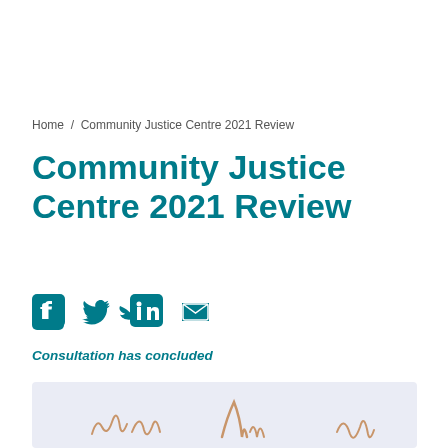Home / Community Justice Centre 2021 Review
Community Justice Centre 2021 Review
[Figure (infographic): Social media share icons: Facebook, Twitter, LinkedIn, Email]
Consultation has concluded
[Figure (photo): Light blue/lavender background image with cursive/handwritten style signatures or calligraphy at the bottom]